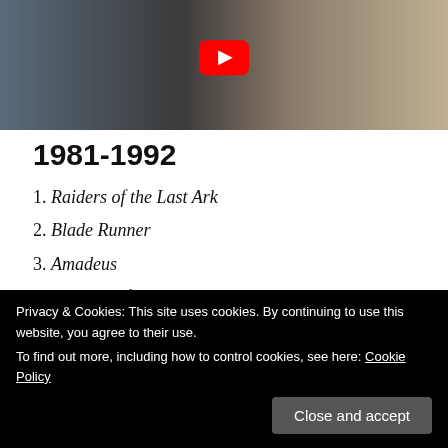[Figure (screenshot): YouTube video thumbnail showing two people in a kitchen scene with cookware on a stove. A red YouTube play button is visible in the upper center of the video.]
1981-1992
1. Raiders of the Last Ark
2. Blade Runner
3. Amadeus
4. The Breakfast Club
Privacy & Cookies: This site uses cookies. By continuing to use this website, you agree to their use.
To find out more, including how to control cookies, see here: Cookie Policy
Close and accept